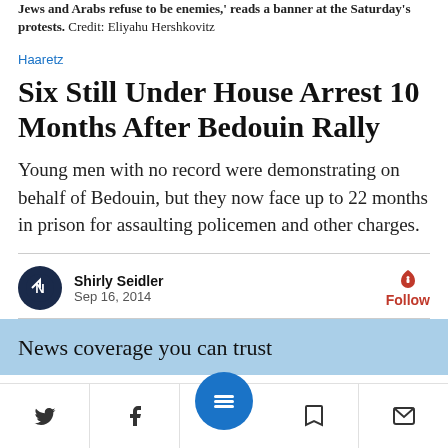Jews and Arabs refuse to be enemies,' reads a banner at the Saturday's protests. Credit: Eliyahu Hershkovitz
Haaretz
Six Still Under House Arrest 10 Months After Bedouin Rally
Young men with no record were demonstrating on behalf of Bedouin, but they now face up to 22 months in prison for assaulting policemen and other charges.
Shirly Seidler
Sep 16, 2014
News coverage you can trust